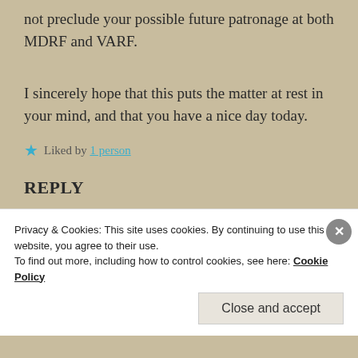not preclude your possible future patronage at both MDRF and VARF.
I sincerely hope that this puts the matter at rest in your mind, and that you have a nice day today.
★ Liked by 1 person
REPLY
GALAXY JANE
May 13, 2015 at 7:50 AM
Privacy & Cookies: This site uses cookies. By continuing to use this website, you agree to their use.
To find out more, including how to control cookies, see here: Cookie Policy
Close and accept